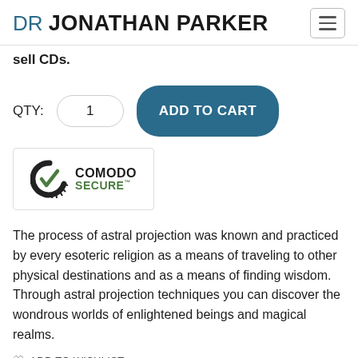DR JONATHAN PARKER
sell CDs.
QTY: 1  ADD TO CART
[Figure (logo): Comodo Secure badge with stylized C checkmark logo and text COMODO SECURE]
The process of astral projection was known and practiced by every esoteric religion as a means of traveling to other physical destinations and as a means of finding wisdom. Through astral projection techniques you can discover the wondrous worlds of enlightened beings and magical realms.
ADD TO WISHLIST